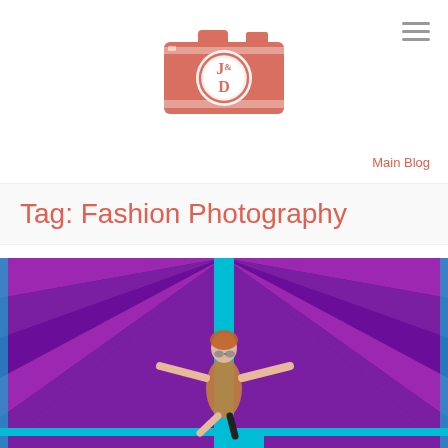[Figure (logo): J&D photography logo — camera icon in coral/salmon color with J&D text inside a circle]
[Figure (other): Hamburger menu icon (three horizontal grey lines) in top right corner]
Main Blog
Tag: Fashion Photography
[Figure (photo): Fashion photography image: woman with red hair posing with arms outstretched against a vibrant purple and cyan geometric background]